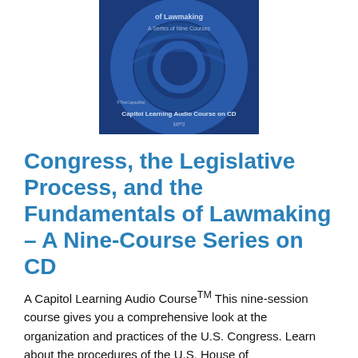[Figure (illustration): Book cover for 'Congress, the Legislative Process, and the Fundamentals of Lawmaking – A Series of Nine Courses'. Dark blue background with decorative circular design. Shows 'Capitol Learning Audio Course on CD, MP3' and TheCapitolNet logo.]
Congress, the Legislative Process, and the Fundamentals of Lawmaking – A Nine-Course Series on CD
A Capitol Learning Audio CourseTM This nine-session course gives you a comprehensive look at the organization and practices of the U.S. Congress. Learn about the procedures of the U.S. House of Representatives and the U.S. Senate from the introduction and referral of legislation to reconciling differences between House-passed and Senate-passed